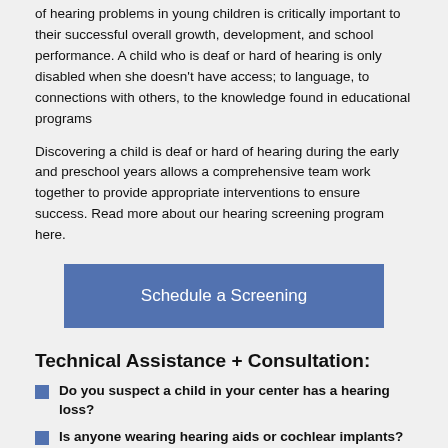of hearing problems in young children is critically important to their successful overall growth, development, and school performance. A child who is deaf or hard of hearing is only disabled when she doesn't have access; to language, to connections with others, to the knowledge found in educational programs
Discovering a child is deaf or hard of hearing during the early and preschool years allows a comprehensive team work together to provide appropriate interventions to ensure success. Read more about our hearing screening program here.
[Figure (other): Blue button labeled 'Schedule a Screening']
Technical Assistance + Consultation:
Do you suspect a child in your center has a hearing loss?
Is anyone wearing hearing aids or cochlear implants?